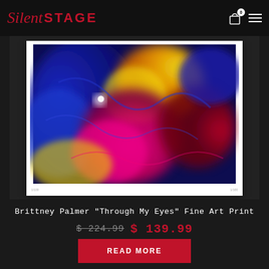Silent STAGE
[Figure (photo): Abstract colorful fine art print with swirling blues, yellows, pinks and reds on white border paper]
Brittney Palmer "Through My Eyes" Fine Art Print
$ 224.99  $ 139.99
READ MORE